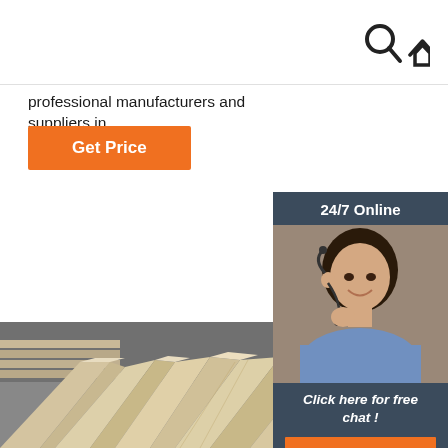Search and Home icons
professional manufacturers and suppliers in ...
Get Price
[Figure (screenshot): Chat widget with 24/7 Online header, customer service representative photo, 'Click here for free chat!' text, and QUOTATION button in orange]
[Figure (photo): Stacked wooden planks/lumber boards in a warehouse, viewed from a low angle perspective showing long flat boards]
[Figure (logo): TOP badge with orange dot arc above the word TOP in orange text]